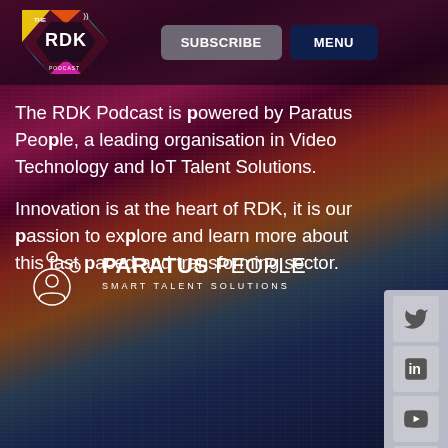[Figure (logo): The RDK Podcast logo - colorful diamond shape with RDK text and wifi symbol]
SUBSCRIBE
MENU
The RDK Podcast is powered by Paratus People, a leading organisation in Video Technology and IoT Talent Solutions.
Innovation is at the heart of RDK, it is our passion to explore and learn more about this fast paced and transforming sector.
[Figure (logo): Paratus People logo with connected nodes icon and text PARATUS PEOPLE SMART TALENT SOLUTIONS]
[Figure (infographic): Social media sidebar icons: Twitter, LinkedIn, YouTube, Apple, Spotify, Google]